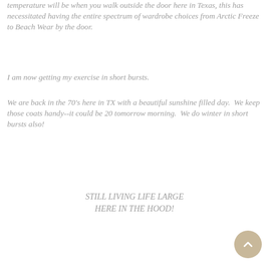temperature will be when you walk outside the door here in Texas, this has necessitated having the entire spectrum of wardrobe choices from Arctic Freeze to Beach Wear by the door.
I am now getting my exercise in short bursts.
We are back in the 70's here in TX with a beautiful sunshine filled day.  We keep those coats handy--it could be 20 tomorrow morning.  We do winter in short bursts also!
STILL LIVING LIFE LARGE
HERE IN THE HOOD!